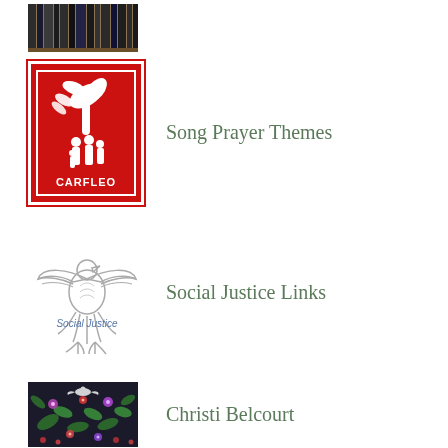[Figure (photo): Row of books on a shelf, dark spines]
[Figure (logo): CARFLEO logo: red background with white dove/flame and silhouettes of people, text CARFLEO]
Song Prayer Themes
[Figure (illustration): Social Justice dove illustration in light gray/white outline with text 'Social Justice']
Social Justice Links
[Figure (photo): Christi Belcourt style floral art with birds and flowers on dark background]
Christi Belcourt